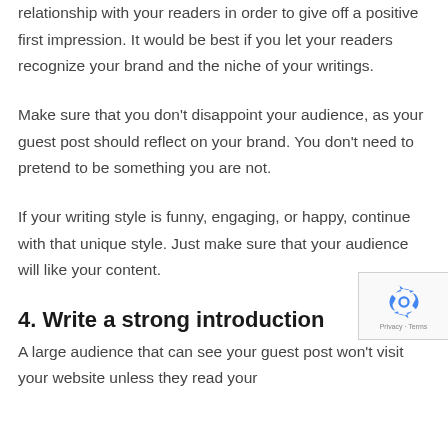relationship with your readers in order to give off a positive first impression. It would be best if you let your readers recognize your brand and the niche of your writings.
Make sure that you don't disappoint your audience, as your guest post should reflect on your brand. You don't need to pretend to be something you are not.
If your writing style is funny, engaging, or happy, continue with that unique style. Just make sure that your audience will like your content.
4. Write a strong introduction
A large audience that can see your guest post won't visit your website unless they read your